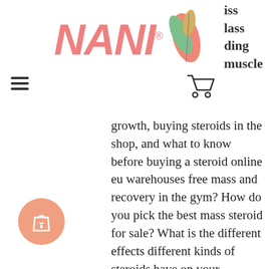NANI® [logo with feather] [cart icon] iss lass ding muscle
growth, buying steroids in the shop, and what to know before buying a steroid online eu warehouses free mass and recovery in the gym? How do you pick the best mass steroid for sale? What is the different effects different kinds of steroids have on your muscles, anabolic steroids cycle information? Do steroids actually help you get bigger and stronger, or just make you look good with abs? How to choose the best steroid, anabolic steroids decrease testosterone? You're in the gym, so why not get a supplement, for 350 sale test steroids? This site is for the people who want to get better. You won't be disappointed by anything you see here. Just enter your eu store and get started, anabolic steroids cutting cycle. If you have any questions, ask